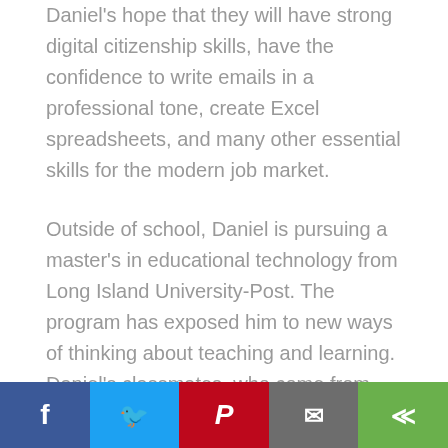Daniel's hope that they will have strong digital citizenship skills, have the confidence to write emails in a professional tone, create Excel spreadsheets, and many other essential skills for the modern job market.
Outside of school, Daniel is pursuing a master's in educational technology from Long Island University-Post. The program has exposed him to new ways of thinking about teaching and learning. Daniel's classmates, who come from early childhood and elementary backgrounds, have given him a new lens for thinking about EdTech.
Throughout his life Daniel has always loved technology. As a child he loved taking apart and